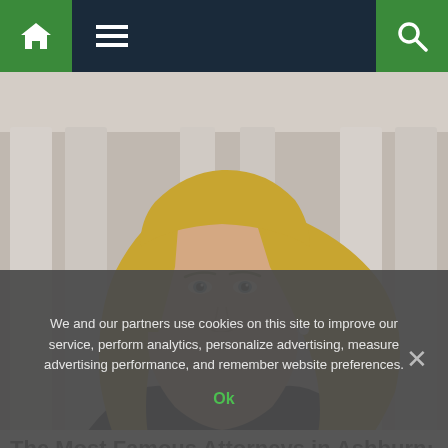Navigation bar with home, menu, and search icons
[Figure (photo): Portrait photo of a blonde female attorney in professional attire, with classical stone columns in the background]
The Most Famous Attorneys in Ashburn: See The List
We and our partners use cookies on this site to improve our service, perform analytics, personalize advertising, measure advertising performance, and remember website preferences.
Ok